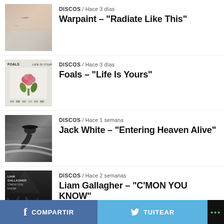DISCOS / Hace 3 días — Warpaint – “Radiate Like This”
DISCOS / Hace 3 días — Foals – “Life Is Yours”
DISCOS / Hace 1 semana — Jack White – “Entering Heaven Alive”
DISCOS / Hace 2 semanas — Liam Gallagher – “C’MON YOU KNOW”
DISCOS / Hace 2 semanas
COMPARTIR  TUITEAR  ...